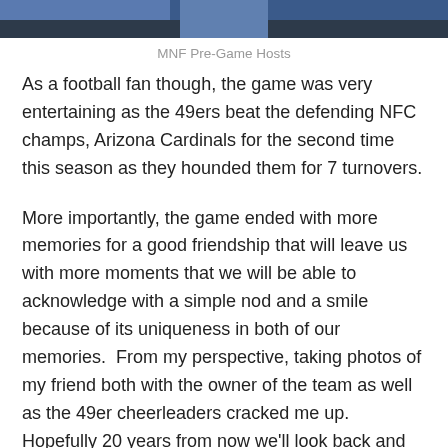[Figure (photo): Partial photo of MNF Pre-Game Hosts, cropped at top of page]
MNF Pre-Game Hosts
As a football fan though, the game was very entertaining as the 49ers beat the defending NFC champs, Arizona Cardinals for the second time this season as they hounded them for 7 turnovers.
More importantly, the game ended with more memories for a good friendship that will leave us with more moments that we will be able to acknowledge with a simple nod and a smile because of its uniqueness in both of our memories.  From my perspective, taking photos of my friend both with the owner of the team as well as the 49er cheerleaders cracked me up.  Hopefully 20 years from now we'll look back and them and crack up at how silly we were.  They will go in the pile along with the Polaroids